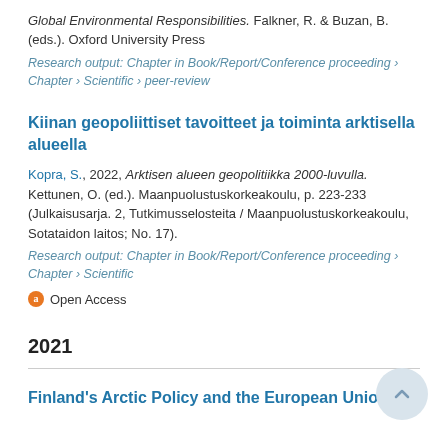Global Environmental Responsibilities. Falkner, R. & Buzan, B. (eds.). Oxford University Press
Research output: Chapter in Book/Report/Conference proceeding › Chapter › Scientific › peer-review
Kiinan geopoliittiset tavoitteet ja toiminta arktisella alueella
Kopra, S., 2022, Arktisen alueen geopolitiikka 2000-luvulla. Kettunen, O. (ed.). Maanpuolustuskorkeakoulu, p. 223-233 (Julkaisusarja. 2, Tutkimusselosteita / Maanpuolustuskorkeakoulu, Sotataidon laitos; No. 17).
Research output: Chapter in Book/Report/Conference proceeding › Chapter › Scientific
Open Access
2021
Finland's Arctic Policy and the European Union